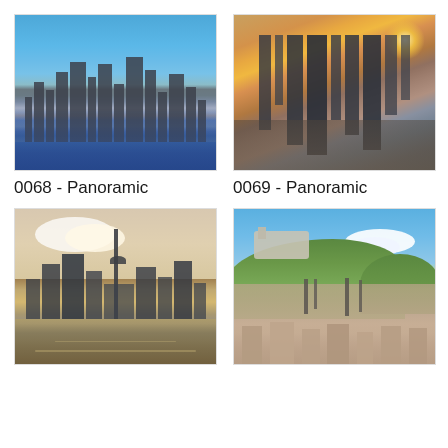[Figure (photo): City skyline (Toronto) viewed from water with blue sky — photo 0068]
0068 - Panoramic
[Figure (photo): Aerial view of city at sunset with skyscrapers — photo 0069]
0069 - Panoramic
[Figure (photo): Toronto skyline with CN Tower at sunset reflected in water — photo 0070]
[Figure (photo): Salzburg old town with castle on hill and mountains in background — photo 0071]